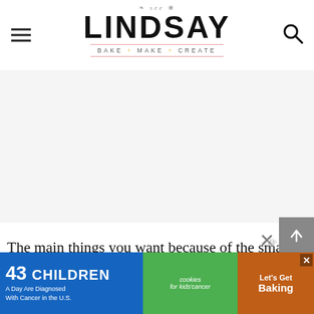see LINDSAY — BAKE + MAKE + CREATE
[Figure (screenshot): White advertisement placeholder area with light gray background]
The main things you want because of the small space or really any space is the right tools. I used this handheld hoe and removed any old flowers, sparse grass and weeds. You'll want to make sure and remove the [text continues] you will
[Figure (infographic): Ad banner: '43 CHILDREN A Day Are Diagnosed With Cancer in the U.S.' with cookies for kids' cancer and Let's Get Baking logos]